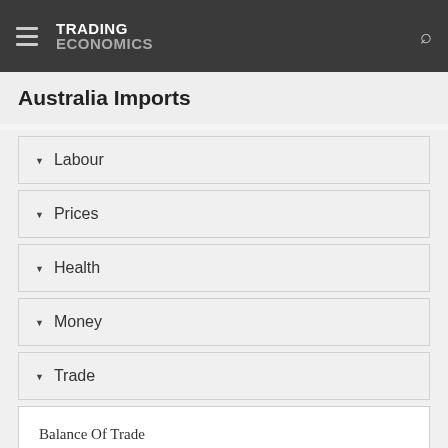TRADING ECONOMICS
Australia Imports
Labour
Prices
Health
Money
Trade
Balance Of Trade
Capital Flows
Crude Oil Production
Current Account
Current Account To GDP